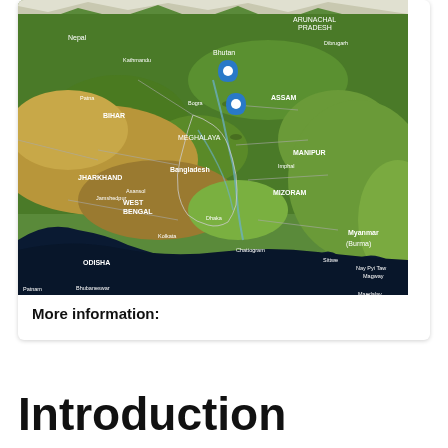[Figure (map): Satellite/terrain map showing the region of Bangladesh, India (Bihar, West Bengal, Jharkhand, Odisha, Assam, Meghalaya, Manipur, Mizoram), Nepal, Bhutan, Myanmar (Burma), and surrounding areas. Two blue location pins are placed near the Meghalaya/Assam/Bangladesh border region. The Bay of Bengal appears as a dark body of water in the lower portion.]
More information:
Introduction